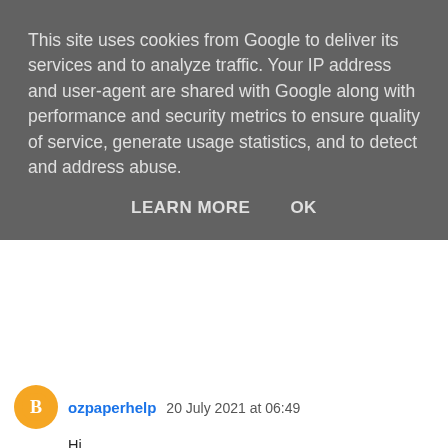This site uses cookies from Google to deliver its services and to analyze traffic. Your IP address and user-agent are shared with Google along with performance and security metrics to ensure quality of service, generate usage statistics, and to detect and address abuse.
LEARN MORE   OK
ozpaperhelp  20 July 2021 at 06:49
Hi
Thanks for sharing these useful information! This is really interesting information for me.
Hospitality Management Simulations Assignment Help UK
Visitor Behavior Management Assignment Help Uk
Fundamentals of Management
Strategic Resource Management Assignment
Marketing Management Assignment Help Uk
Visitor Behavior Management Assignment Help Uk
Hospitality Management Simulations Assignment Help UK
Strategic Information System Assignment Help Uk
FINA600 Financial Management
Human Resource Management Service Assignment Help